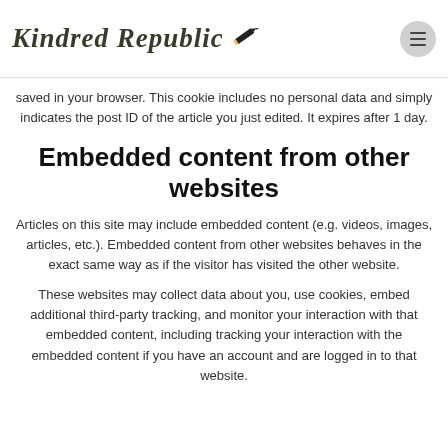Kindred Republic
saved in your browser. This cookie includes no personal data and simply indicates the post ID of the article you just edited. It expires after 1 day.
Embedded content from other websites
Articles on this site may include embedded content (e.g. videos, images, articles, etc.). Embedded content from other websites behaves in the exact same way as if the visitor has visited the other website.
These websites may collect data about you, use cookies, embed additional third-party tracking, and monitor your interaction with that embedded content, including tracking your interaction with the embedded content if you have an account and are logged in to that website.